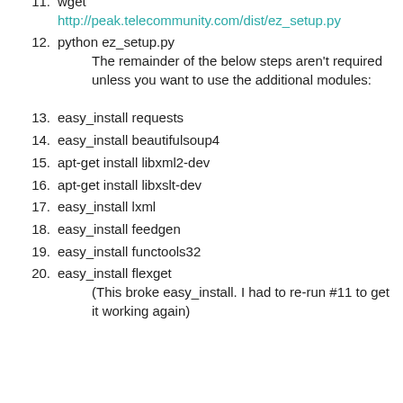11. wget
    http://peak.telecommunity.com/dist/ez_setup.py
12. python ez_setup.py
    The remainder of the below steps aren't required unless you want to use the additional modules:
13. easy_install requests
14. easy_install beautifulsoup4
15. apt-get install libxml2-dev
16. apt-get install libxslt-dev
17. easy_install lxml
18. easy_install feedgen
19. easy_install functools32
20. easy_install flexget
    (This broke easy_install. I had to re-run #11 to get it working again)